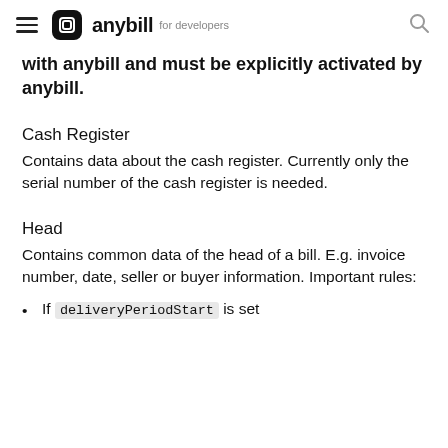anybill for developers
with anybill and must be explicitly activated by anybill.
Cash Register
Contains data about the cash register. Currently only the serial number of the cash register is needed.
Head
Contains common data of the head of a bill. E.g. invoice number, date, seller or buyer information. Important rules:
If deliveryPeriodStart is set